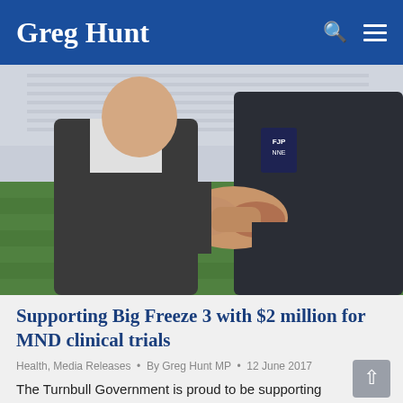Greg Hunt
[Figure (photo): Two men shaking hands on a sports field (grass pitch) with stadium seating visible in the background. One man wears a dark suit jacket, the other wears a dark jacket.]
Supporting Big Freeze 3 with $2 million for MND clinical trials
Health, Media Releases • By Greg Hunt MP • 12 June 2017
The Turnbull Government is proud to be supporting